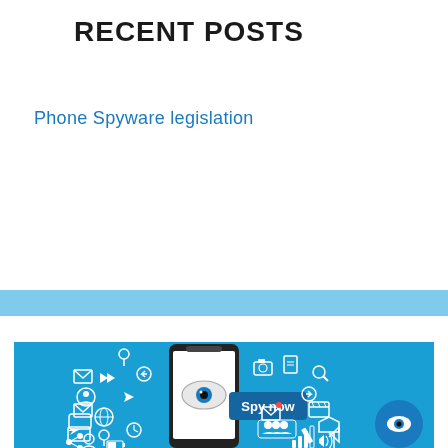RECENT POSTS
Phone Spyware legislation
[Figure (illustration): Illustration of a smartphone with an eye on screen, surrounded by various app/data icons (mail, location, camera, contacts, etc.), a 'Spy now' button overlay, and a circular blue eye icon button on the right. Blue background representing phone spyware monitoring concept.]